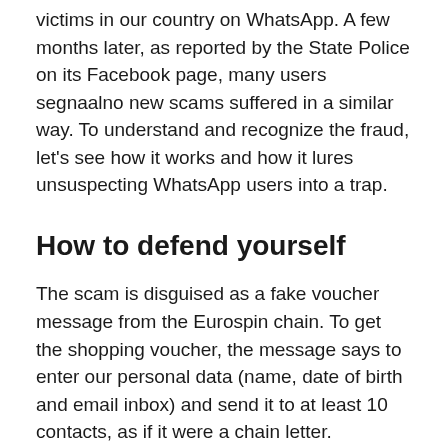victims in our country on WhatsApp. A few months later, as reported by the State Police on its Facebook page, many users segnaalno new scams suffered in a similar way. To understand and recognize the fraud, let's see how it works and how it lures unsuspecting WhatsApp users into a trap.
How to defend yourself
The scam is disguised as a fake voucher message from the Eurospin chain. To get the shopping voucher, the message says to enter our personal data (name, date of birth and email inbox) and send it to at least 10 contacts, as if it were a chain letter. Obviously once you do all this you do